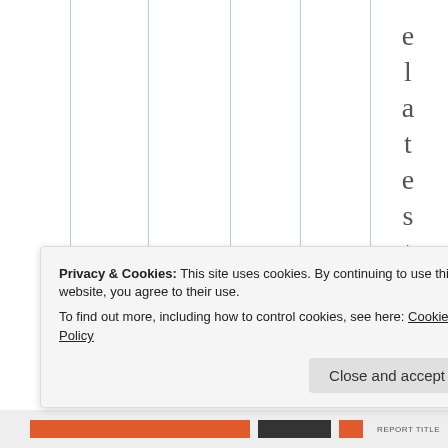[Figure (other): Background of a webpage showing vertical column/grid lines in teal/green color on white background, with individual letters of 'elastinf' displayed vertically on the right side in large serif font]
Privacy & Cookies: This site uses cookies. By continuing to use this website, you agree to their use.
To find out more, including how to control cookies, see here: Cookie Policy
Close and accept